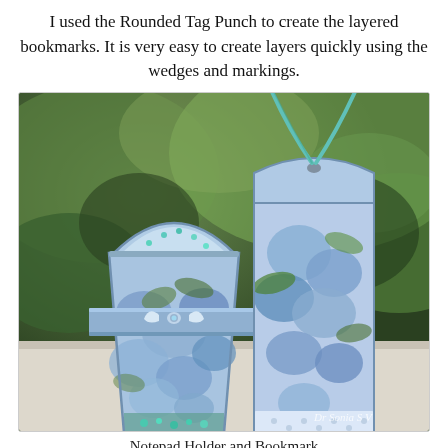I used the Rounded Tag Punch to create the layered bookmarks. It is very easy to create layers quickly using the wedges and markings.
[Figure (photo): A crafted notepad holder and bookmark side by side on a white surface. Both are decorated with blue hydrangea floral paper. The notepad holder has a domed shaker top filled with teal sequins and a bow embellishment. The taller bookmark has a rounded tag top with a teal ribbon threaded through it. A watermark reads 'Dr Sonia S V' in the bottom right corner.]
Notepad Holder and Bookmark